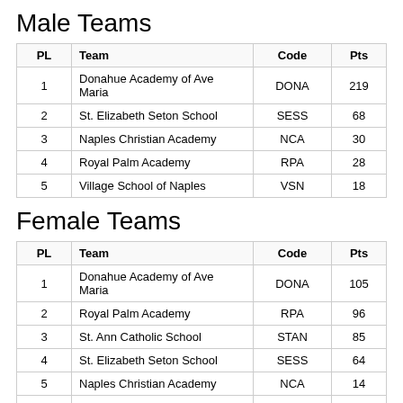Male Teams
| PL | Team | Code | Pts |
| --- | --- | --- | --- |
| 1 | Donahue Academy of Ave Maria | DONA | 219 |
| 2 | St. Elizabeth Seton School | SESS | 68 |
| 3 | Naples Christian Academy | NCA | 30 |
| 4 | Royal Palm Academy | RPA | 28 |
| 5 | Village School of Naples | VSN | 18 |
Female Teams
| PL | Team | Code | Pts |
| --- | --- | --- | --- |
| 1 | Donahue Academy of Ave Maria | DONA | 105 |
| 2 | Royal Palm Academy | RPA | 96 |
| 3 | St. Ann Catholic School | STAN | 85 |
| 4 | St. Elizabeth Seton School | SESS | 64 |
| 5 | Naples Christian Academy | NCA | 14 |
| 6 | Village School of Naples | VSN |  |